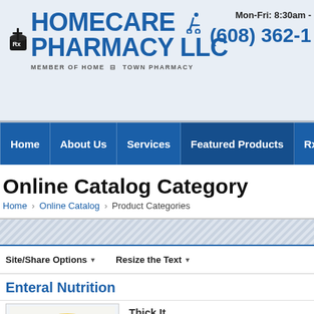[Figure (logo): Homecare Pharmacy LLC logo with mortar & pestle icon and wheelchair icon, Member of Home Town Pharmacy]
Mon-Fri: 8:30am -
(608) 362-1
[Figure (screenshot): Navigation bar with: Home, About Us, Services, Featured Products, Rx Refill]
Online Catalog Category
Home › Online Catalog › Product Categories
Site/Share Options ▾       Resize the Text ▾
Enteral Nutrition
Thick It